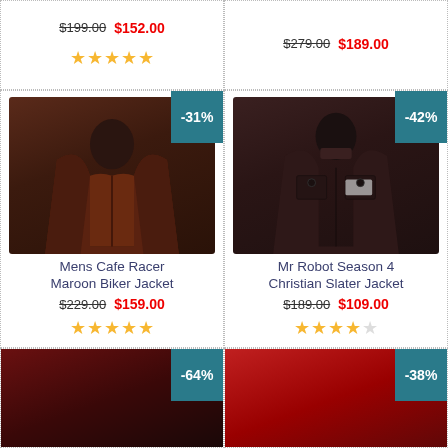[Figure (photo): Top-left partial product card showing original price $199.00 crossed out and sale price $152.00 in red, with 5 gold stars rating]
$199.00  $152.00
★★★★★
[Figure (photo): Top-right partial product card showing original price $279.00 crossed out and sale price $189.00 in red]
$279.00  $189.00
[Figure (photo): Middle-left product card: Mens Cafe Racer Maroon Biker Jacket with -31% badge, original price $229.00, sale price $159.00, 5 gold stars]
Mens Cafe Racer Maroon Biker Jacket
$229.00  $159.00
★★★★★
[Figure (photo): Middle-right product card: Mr Robot Season 4 Christian Slater Jacket with -42% badge, original price $189.00, sale price $109.00, 4 gold stars]
Mr Robot Season 4 Christian Slater Jacket
$189.00  $109.00
★★★★☆
[Figure (photo): Bottom-left partial product card with -64% badge showing a dark red/maroon jacket]
[Figure (photo): Bottom-right partial product card with -38% badge showing a red jacket]